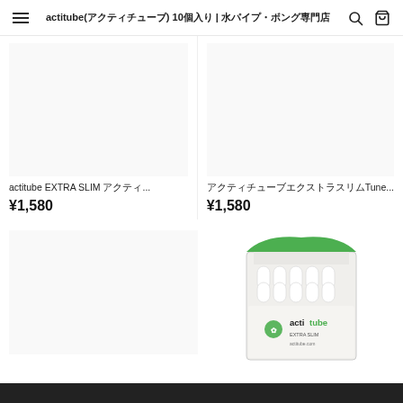≡  actitube(アクティチューブ) 10個入り | 水パイプ・ボング専門店  🔍  🛒
actitube EXTRA SLIM アクティ...
¥1,580
アクティチューブエクストラスリムTune...
¥1,580
[Figure (photo): actitube product box with green lid, open showing white tube filters inside, with actitube logo and four-leaf clover icon on the front]